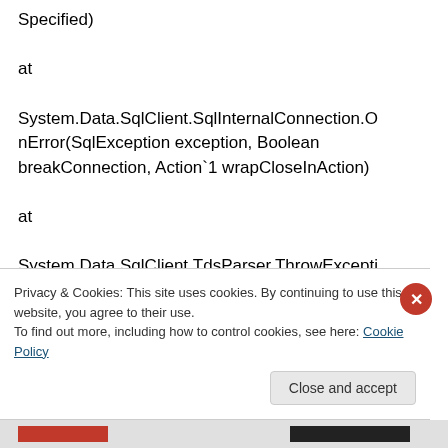Specified)
at
System.Data.SqlClient.SqlInternalConnection.OnError(SqlException exception, Boolean breakConnection, Action`1 wrapCloseInAction)
at
System.Data.SqlClient.TdsParser.ThrowExceptionAndWarning(TdsParserStateObject stateObj, Boolean callerHasConnectionLock, Boolean asyncClose)
at
Privacy & Cookies: This site uses cookies. By continuing to use this website, you agree to their use.
To find out more, including how to control cookies, see here: Cookie Policy
Close and accept